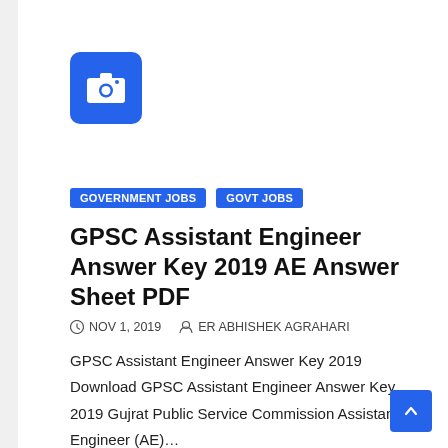[Figure (logo): Blue rounded square with a camera icon in white]
GOVERNMENT JOBS   GOVT JOBS
GPSC Assistant Engineer Answer Key 2019 AE Answer Sheet PDF
NOV 1, 2019   ER ABHISHEK AGRAHARI
GPSC Assistant Engineer Answer Key 2019 Download GPSC Assistant Engineer Answer Key 2019 Gujrat Public Service Commission Assistant Engineer (AE)…